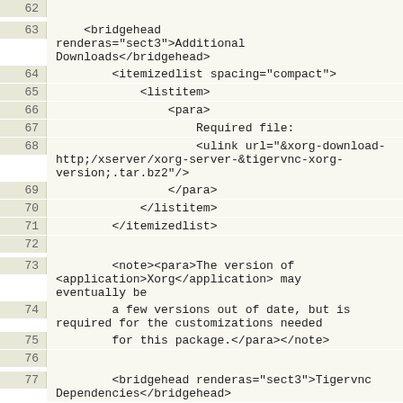62
63    <bridgehead renderas="sect3">Additional Downloads</bridgehead>
64        <itemizedlist spacing="compact">
65            <listitem>
66                <para>
67                    Required file:
68                    <ulink url="&xorg-download-http;/xserver/xorg-server-&tigervnc-xorg-version;.tar.bz2"/>
69                </para>
70            </listitem>
71        </itemizedlist>
72
73        <note><para>The version of <application>Xorg</application> may eventually be
74            a few versions out of date, but is required for the customizations needed
75            for this package.</para></note>
76
77        <bridgehead renderas="sect3">Tigervnc Dependencies</bridgehead>